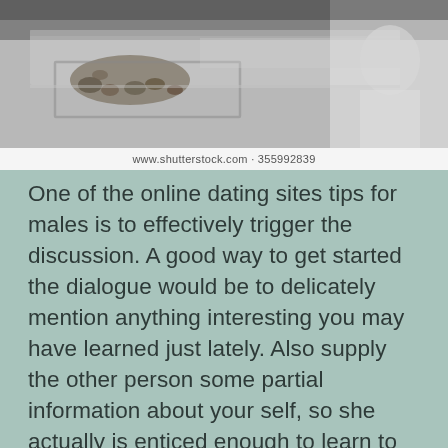[Figure (photo): Black and white photo of a kitchen or industrial scene with metal surfaces, pebbles or nuts, and blurred background with a person in white]
www.shutterstock.com · 355992839
One of the online dating sites tips for males is to effectively trigger the discussion. A good way to get started the dialogue would be to delicately mention anything interesting you may have learned just lately. Also supply the other person some partial information about your self, so she actually is enticed enough to learn to read the whole personal message and click on your link. Before going in to the actual talk, make sure to go through the other paid members in the chat room. Understand from